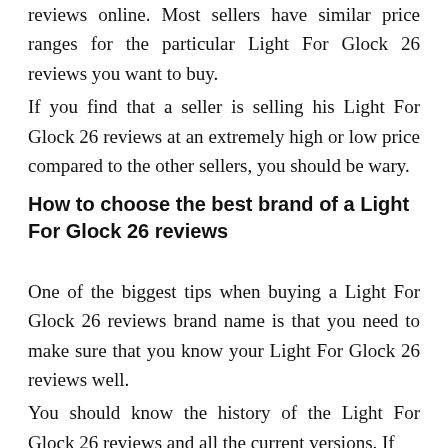reviews online. Most sellers have similar price ranges for the particular Light For Glock 26 reviews you want to buy.
If you find that a seller is selling his Light For Glock 26 reviews at an extremely high or low price compared to the other sellers, you should be wary.
How to choose the best brand of a Light For Glock 26 reviews
One of the biggest tips when buying a Light For Glock 26 reviews brand name is that you need to make sure that you know your Light For Glock 26 reviews well.
You should know the history of the Light For Glock 26 reviews and all the current versions. If